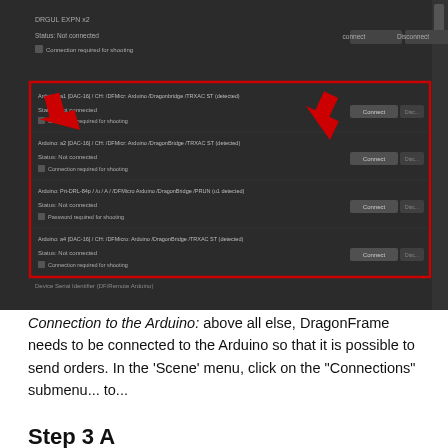[Figure (screenshot): DragonFrame software connections panel showing multiple Arduino connections with 'Connect' buttons and 'Connection required for shooting' checkboxes, highlighted with red border and red arrows pointing to Connect buttons]
Connection to the Arduino: above all else, DragonFrame needs to be connected to the Arduino so that it is possible to send orders. In the 'Scene' menu, click on the "Connections" submenu... to...
Read More
Step 3 A